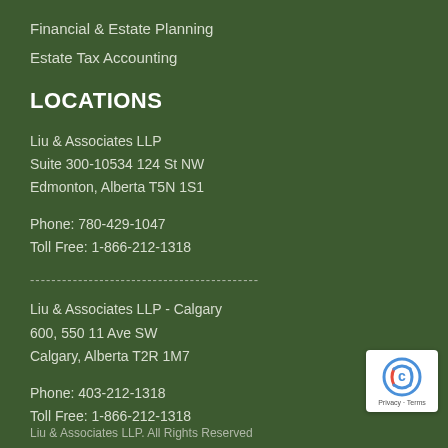Financial & Estate Planning
Estate Tax Accounting
LOCATIONS
Liu & Associates LLP
Suite 300-10534 124 St NW
Edmonton, Alberta T5N 1S1
Phone: 780-429-1047
Toll Free: 1-866-212-1318
-------------------------------------------
Liu & Associates LLP - Calgary
600, 550 11 Ave SW
Calgary, Alberta T2R 1M7
Phone: 403-212-1318
Toll Free: 1-866-212-1318
[Figure (logo): reCAPTCHA badge with Privacy and Terms links]
Liu & Associates LLP. All Rights Reserved